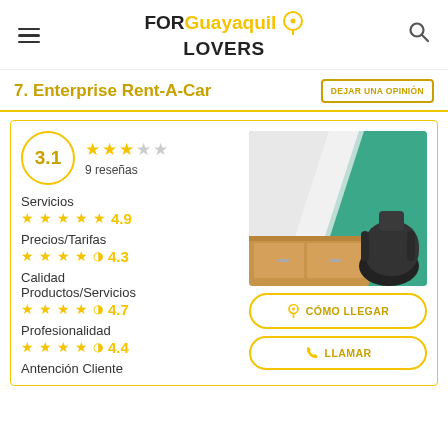FOR Guayaquil LOVERS
7. Enterprise Rent-A-Car
DEJAR UNA OPINIÓN
3.1 — 9 reseñas
Servicios 4.9
Precios/Tarifas 4.3
Calidad Productos/Servicios 4.7
Profesionalidad 4.4
Antención Cliente
[Figure (photo): Interior office photo showing teal/green panel background, wooden cabinet, and black mesh chair]
CÓMO LLEGAR
LLAMAR